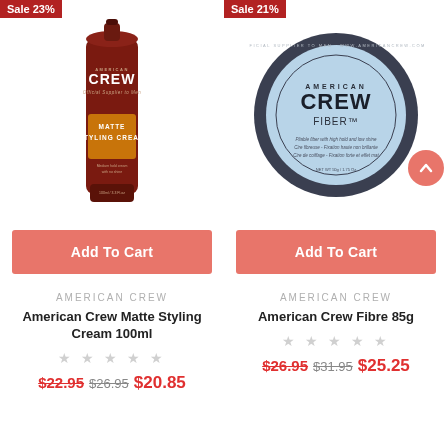[Figure (photo): American Crew Matte Styling Cream 100ml tube with sale badge showing 23% off and Add To Cart button]
[Figure (photo): American Crew Fiber 85g puck with sale badge showing 21% off and Add To Cart button]
AMERICAN CREW
American Crew Matte Styling Cream 100ml
★ ★ ★ ★ ★
$22.95  $26.95  $20.85
AMERICAN CREW
American Crew Fibre 85g
★ ★ ★ ★ ★
$26.95  $31.95  $25.25